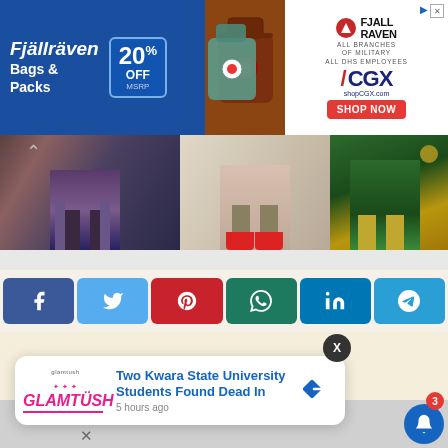[Figure (screenshot): Advertisement banner for Fjallraven Bags and Packs at CGX with 20% off MSRP]
[Figure (photo): Fashion image strip showing women's legs and feet with various footwear and clothing]
[Figure (screenshot): Social media share buttons: Facebook, Twitter, Pinterest, WhatsApp, LinkedIn, Telegram]
[Figure (screenshot): Notification popup from GlamTush: Two Kwara State University Students Found Dead In - 5 hours ago]